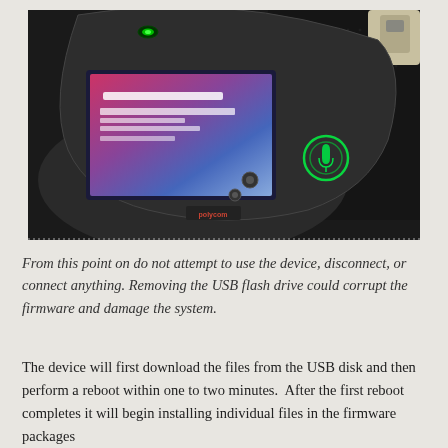[Figure (photo): Photo of a Polycom conference device with a touchscreen display showing a firmware update screen with reddish/blue gradient. A USB flash drive is visible in the upper right corner. The device has green glowing LED indicators and sits on a dark surface.]
From this point on do not attempt to use the device, disconnect, or connect anything. Removing the USB flash drive could corrupt the firmware and damage the system.
The device will first download the files from the USB disk and then perform a reboot within one to two minutes.  After the first reboot completes it will begin installing individual files in the firmware packages